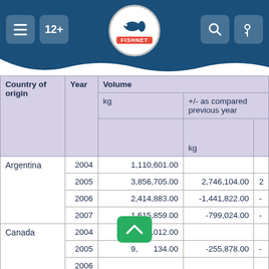FISHNET
| Country of origin | Year | kg | +/- as compared previous year kg |
| --- | --- | --- | --- |
| Argentina | 2004 | 1,110,601.00 |  |
|  | 2005 | 3,856,705.00 | 2,746,104.00 |
|  | 2006 | 2,414,883.00 | -1,441,822.00 |
|  | 2007 | 1,615,859.00 | -799,024.00 |
| Canada | 2004 | 9,852,012.00 |  |
|  | 2005 | 9,[obscured].00 | -255,878.00 |
|  | 2006 | [obscured] | -[obscured] |